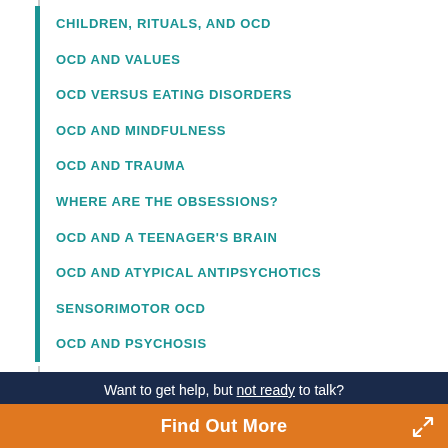CHILDREN, RITUALS, AND OCD
OCD AND VALUES
OCD VERSUS EATING DISORDERS
OCD AND MINDFULNESS
OCD AND TRAUMA
WHERE ARE THE OBSESSIONS?
OCD AND A TEENAGER'S BRAIN
OCD AND ATYPICAL ANTIPSYCHOTICS
SENSORIMOTOR OCD
OCD AND PSYCHOSIS
Want to get help, but not ready to talk? Find Out More